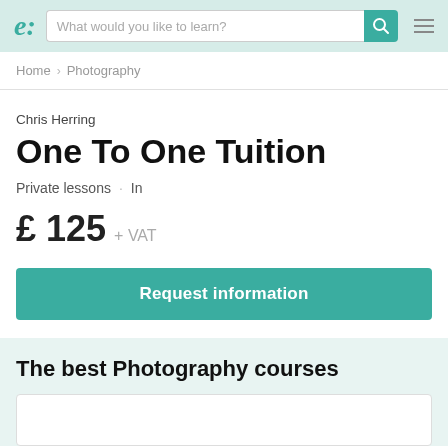e: | What would you like to learn?
Home › Photography
Chris Herring
One To One Tuition
Private lessons · In
£ 125 + VAT
Request information
The best Photography courses